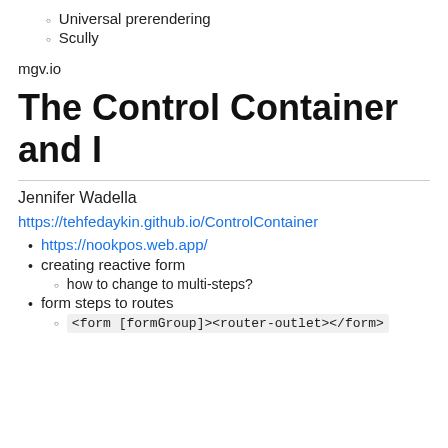Universal prerendering
Scully
mgv.io
The Control Container and I
Jennifer Wadella
https://tehfedaykin.github.io/ControlContainer
https://nookpos.web.app/
creating reactive form
how to change to multi-steps?
form steps to routes
<form [formGroup]><router-outlet></form>